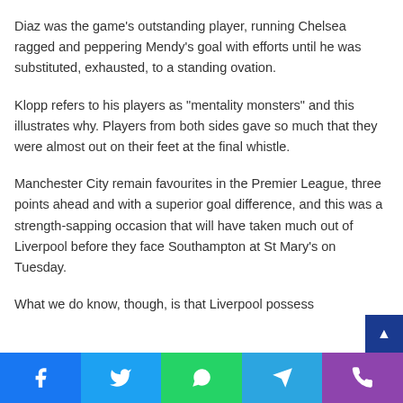Diaz was the game’s outstanding player, running Chelsea ragged and peppering Mendy’s goal with efforts until he was substituted, exhausted, to a standing ovation.
Klopp refers to his players as “mentality monsters” and this illustrates why. Players from both sides gave so much that they were almost out on their feet at the final whistle.
Manchester City remain favourites in the Premier League, three points ahead and with a superior goal difference, and this was a strength-sapping occasion that will have taken much out of Liverpool before they face Southampton at St Mary’s on Tuesday.
What we do know, though, is that Liverpool possess